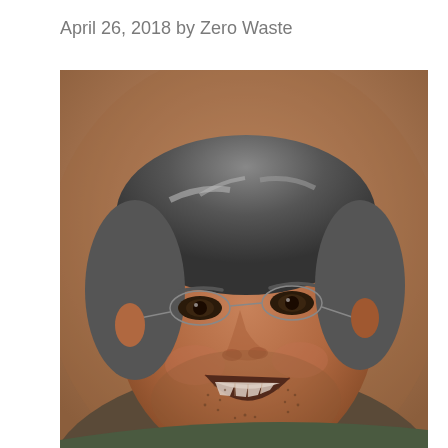April 26, 2018 by Zero Waste
[Figure (photo): Close-up portrait photo of a middle-aged man with gray-streaked hair, wearing thin wire-rimmed glasses, laughing broadly with a wide smile. He has a stubbly beard and is photographed against a warm brown background.]